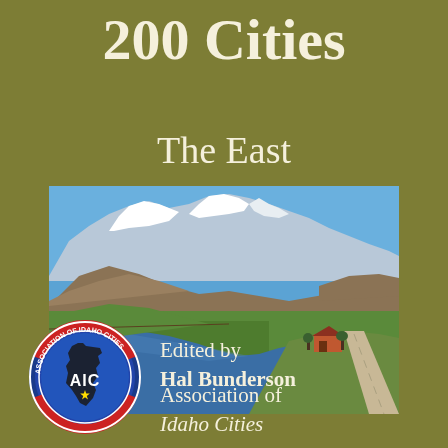200 Cities
The East
[Figure (photo): Scenic river valley landscape with snow-capped mountains in background, green meadows, river flowing through, road on the right, and a farmhouse/building visible on the right side under a blue sky.]
[Figure (logo): Association of Idaho Cities (AIC) circular logo with blue background, silhouette of Idaho state map, and text around the border reading 'ASSOCIATION OF IDAHO CITIES']
Edited by Hal Bunderson
Association of Idaho Cities